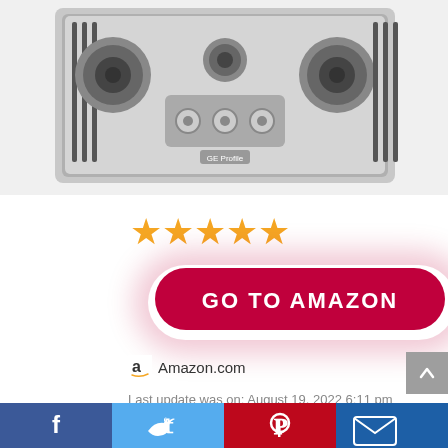[Figure (photo): Top-down view of a stainless steel GE Profile gas cooktop with 5 burners and control knobs in the center]
[Figure (other): Five gold/orange star rating icons]
[Figure (other): Red rounded button with white bold text reading GO TO AMAZON]
Amazon.com
Last update was on: August 19, 2022 6:11 pm
PGP9030SLSS
[Figure (other): Social share bar with Facebook, Twitter, Pinterest, and Email icons]